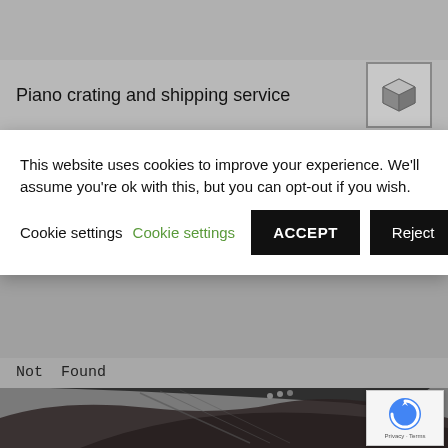Piano crating and shipping service
This website uses cookies to improve your experience. We'll assume you're ok with this, but you can opt-out if you wish.  Cookie settings  ACCEPT  Reject
Not Found
[Figure (screenshot): Grand piano visible in lower portion of webpage screenshot]
[Figure (logo): reCAPTCHA badge with Privacy and Terms links]